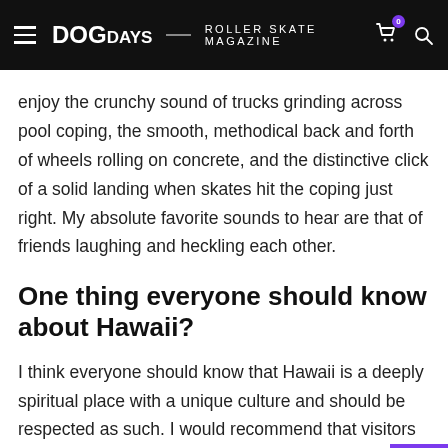DOGdays — ROLLER SKATE MAGAZINE
enjoy the crunchy sound of trucks grinding across pool coping, the smooth, methodical back and forth of wheels rolling on concrete, and the distinctive click of a solid landing when skates hit the coping just right. My absolute favorite sounds to hear are that of friends laughing and heckling each other.
One thing everyone should know about Hawaii?
I think everyone should know that Hawaii is a deeply spiritual place with a unique culture and should be respected as such. I would recommend that visitors take the time to look past the flower leis and sandy beaches to listen. From the unification of the islands